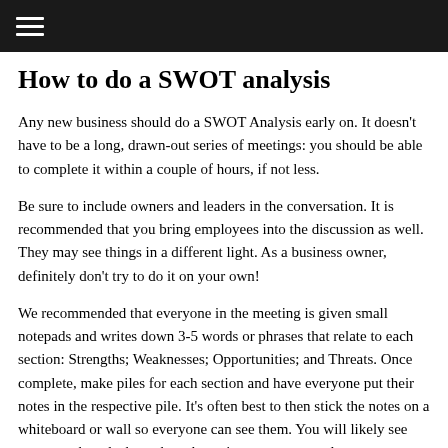≡
How to do a SWOT analysis
Any new business should do a SWOT Analysis early on. It doesn't have to be a long, drawn-out series of meetings: you should be able to complete it within a couple of hours, if not less.
Be sure to include owners and leaders in the conversation. It is recommended that you bring employees into the discussion as well. They may see things in a different light. As a business owner, definitely don't try to do it on your own!
We recommended that everyone in the meeting is given small notepads and writes down 3-5 words or phrases that relate to each section: Strengths; Weaknesses; Opportunities; and Threats. Once complete, make piles for each section and have everyone put their notes in the respective pile. It's often best to then stick the notes on a whiteboard or wall so everyone can see them. You will likely see common threads through each section — you may also see